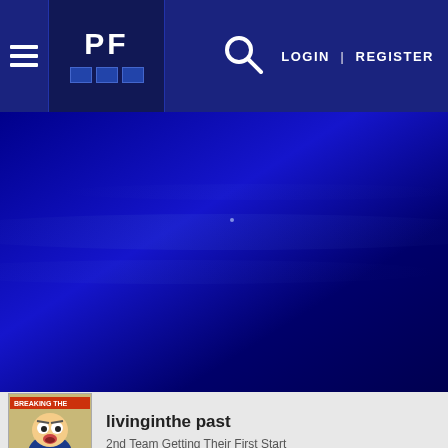[Figure (screenshot): Website navigation bar with hamburger menu, PF logo, search icon, LOGIN and REGISTER links on dark blue background]
[Figure (photo): Dark blue hero/banner image with subtle light streaks]
[Figure (illustration): Avatar image of an animated character (South Park style) with 'BREAKING THE' text overlay]
livinginthe past
2nd Team Getting Their First Start
Nov 24, 2014
#49
Anytime you want to have yourself a 'superior moment' go have
This site uses cookies to help personalise content, tailor your experience and to keep you logged in if you register.
By continuing to use this site, you are consenting to our use of cookies.